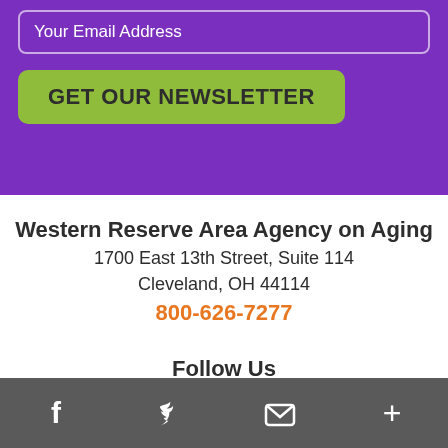Your Email Address
GET OUR NEWSLETTER
Western Reserve Area Agency on Aging
1700 East 13th Street, Suite 114
Cleveland, OH 44114
800-626-7277
Follow Us
[Figure (other): Partial row of social media icon circles, mostly obscured]
f  [Twitter bird]  [Envelope]  +